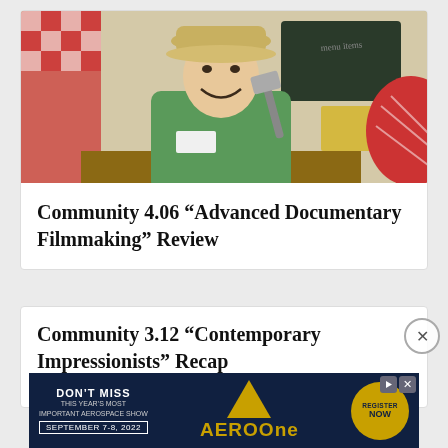[Figure (photo): A smiling Asian man wearing a green polo shirt and a beige cap, holding a spatula, standing in a colorful diner-style kitchen set with red and white checkered curtains and decorations.]
Community 4.06 “Advanced Documentary Filmmaking” Review
Community 3.12 “Contemporary Impressionists” Recap
[Figure (screenshot): Advertisement banner for AEROOne aerospace show. Dark navy background with gold triangle logo. Text reads: DON'T MISS / THIS YEAR'S MOST IMPORTANT AEROSPACE SHOW / SEPTEMBER 7-8, 2022 / AEROOne / REGISTER NOW]